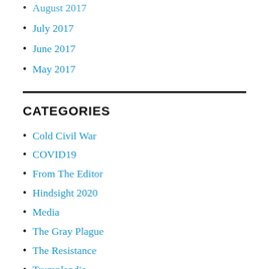August 2017
July 2017
June 2017
May 2017
CATEGORIES
Cold Civil War
COVID19
From The Editor
Hindsight 2020
Media
The Gray Plague
The Resistance
Trumplandia